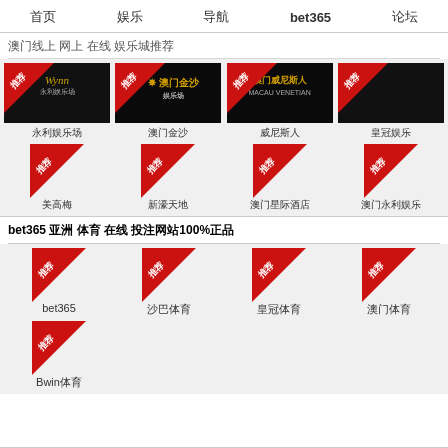首页  娱乐  导航  bet365  论坛
澳门线上 网上 在线 娱乐城推荐
[Figure (logo): Wynn Macau casino banner with gold text]
[Figure (logo): 澳门金沙 casino banner with gold Chinese text]
[Figure (logo): 澳门威尼斯人 Macau Venetian casino banner with gold lion]
[Figure (logo): Crown casino banner dark]
永利娱乐场
澳门金沙
威尼斯人
皇冠娱乐
[Figure (logo): 推荐 badge - 美高梅]
美高梅
[Figure (logo): 推荐 badge - 新葡京]
新濠天地
[Figure (logo): 推荐 badge - 澳门银河]
澳门星际酒店
[Figure (logo): 推荐 badge]
澳门永利娱乐
bet365 亚洲 体育 在线 投注网站100%正品
[Figure (logo): 推荐 badge - bet365]
bet365
[Figure (logo): 推荐 badge]
沙巴体育
[Figure (logo): 推荐 badge]
皇冠体育
[Figure (logo): 推荐 badge]
澳门体育
[Figure (logo): 推荐 badge - Bwin]
Bwin体育